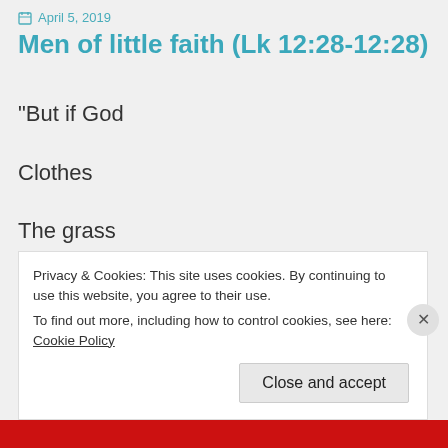April 5, 2019
Men of little faith (Lk 12:28-12:28)
“But if God
Clothes
The grass
Of the field,
Privacy & Cookies: This site uses cookies. By continuing to use this website, you agree to their use.
To find out more, including how to control cookies, see here: Cookie Policy